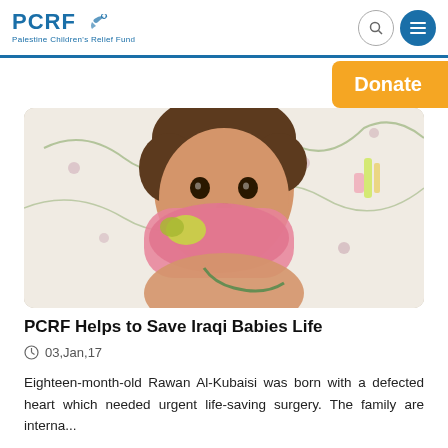PCRF - Palestine Children's Relief Fund
Donate
[Figure (photo): A young toddler (Rawan Al-Kubaisi) lying in a hospital bed with floral sheets, drinking from a pink baby bottle, with medical tubes visible]
PCRF Helps to Save Iraqi Babies Life
03,Jan,17
Eighteen-month-old Rawan Al-Kubaisi was born with a defected heart which needed urgent life-saving surgery. The family are interna...